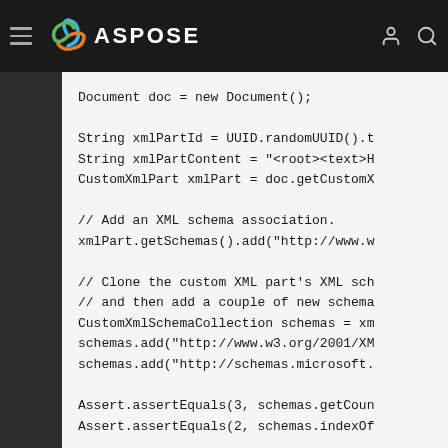ASPOSE
Document doc = new Document();

String xmlPartId = UUID.randomUUID().t
String xmlPartContent = "<root><text>H
CustomXmlPart xmlPart = doc.getCustomX

// Add an XML schema association.
xmlPart.getSchemas().add("http://www.w

// Clone the custom XML part's XML sch
// and then add a couple of new schema
CustomXmlSchemaCollection schemas = xm
schemas.add("http://www.w3.org/2001/XM
schemas.add("http://schemas.microsoft.

Assert.assertEquals(3, schemas.getCoun
Assert.assertEquals(2, schemas.indexOf

// Enumerate the schemas and print eac